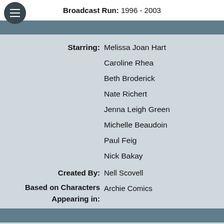Broadcast Run: 1996 - 2003
| Starring: | Melissa Joan Hart |
|  | Caroline Rhea |
|  | Beth Broderick |
|  | Nate Richert |
|  | Jenna Leigh Green |
|  | Michelle Beaudoin |
|  | Paul Feig |
|  | Nick Bakay |
| Created By: | Nell Scovell |
| Based on Characters Appearing in: | Archie Comics |
| Broadcast Network: | ABC (season 1-4) |
|  | The WB (season 5-7) |
| Production Company: | Hartbreak Films |